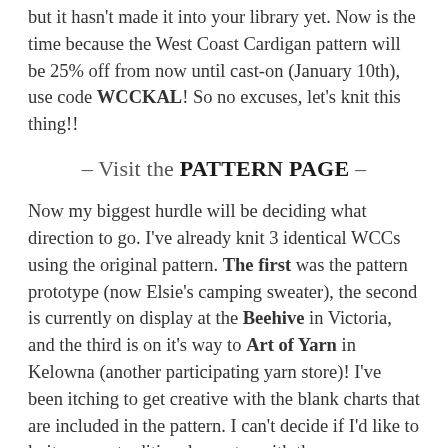but it hasn't made it into your library yet. Now is the time because the West Coast Cardigan pattern will be 25% off from now until cast-on (January 10th), use code WCCKAL! So no excuses, let's knit this thing!!
– Visit the PATTERN PAGE –
Now my biggest hurdle will be deciding what direction to go. I've already knit 3 identical WCCs using the original pattern. The first was the pattern prototype (now Elsie's camping sweater), the second is currently on display at the Beehive in Victoria, and the third is on it's way to Art of Yarn in Kelowna (another participating yarn store)! I've been itching to get creative with the blank charts that are included in the pattern. I can't decide if I'd like to knit a more traditional sweater with three